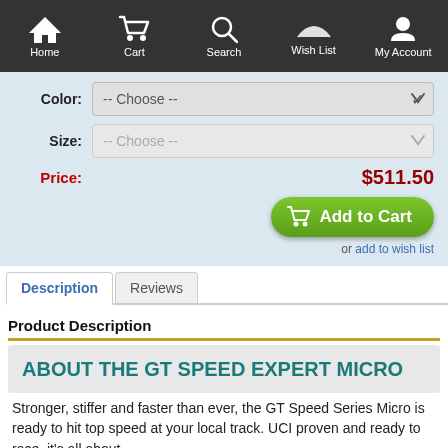Home | Cart | Search | Wish List | My Account
Color: -- Choose --
Size: -- Choose --
Price: $511.50
Add to Cart
or add to wish list
Description | Reviews
Product Description
ABOUT THE GT SPEED EXPERT MICRO
Stronger, stiffer and faster than ever, the GT Speed Series Micro is ready to hit top speed at your local track. UCI proven and ready to race, it's all about